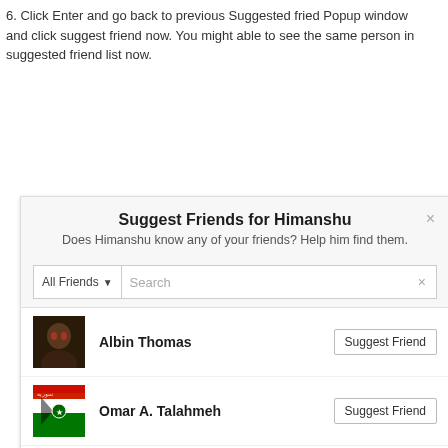6. Click Enter and go back to previous Suggested fried Popup window and click suggest friend now. You might able to see the same person in suggested friend list now.
[Figure (screenshot): Facebook 'Suggest Friends for Himanshu' modal dialog showing a friends list with Albin Thomas, Omar A. Talahmeh, Yusril Aryfandy, and Himanshu Kum (partially obscured by a 'Back to top' tooltip). Each friend has a 'Suggest Friend' button. The last row (Himanshu Kum) is highlighted with a red border.]